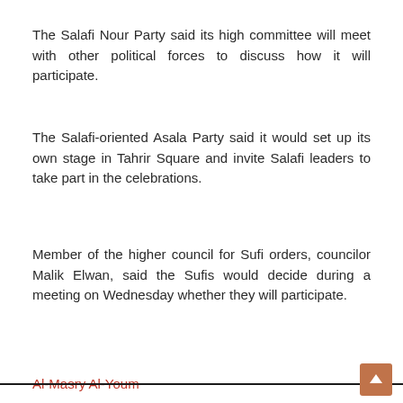The Salafi Nour Party said its high committee will meet with other political forces to discuss how it will participate.
The Salafi-oriented Asala Party said it would set up its own stage in Tahrir Square and invite Salafi leaders to take part in the celebrations.
Member of the higher council for Sufi orders, councilor Malik Elwan, said the Sufis would decide during a meeting on Wednesday whether they will participate.
Al-Masry Al-Youm